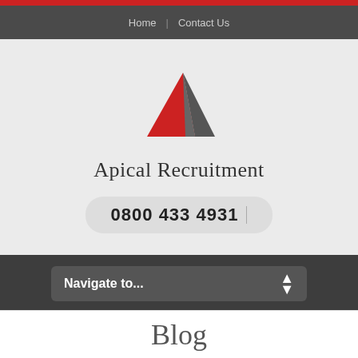Home | Contact Us
[Figure (logo): Apical Recruitment logo: red and grey triangular/mountain shape above company name]
Apical Recruitment
0800 433 4931
Navigate to...
Blog